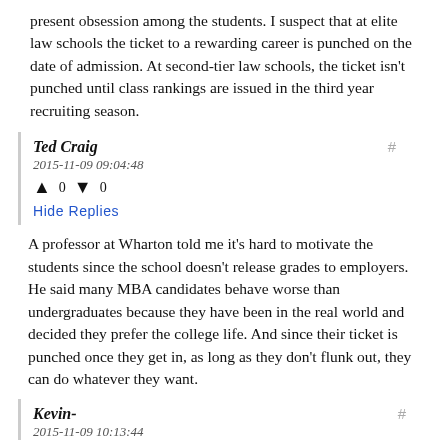present obsession among the students. I suspect that at elite law schools the ticket to a rewarding career is punched on the date of admission. At second-tier law schools, the ticket isn't punched until class rankings are issued in the third year recruiting season.
Ted Craig
2015-11-09 09:04:48
Hide Replies
A professor at Wharton told me it's hard to motivate the students since the school doesn't release grades to employers. He said many MBA candidates behave worse than undergraduates because they have been in the real world and decided they prefer the college life. And since their ticket is punched once they get in, as long as they don't flunk out, they can do whatever they want.
Kevin-
2015-11-09 10:13:44